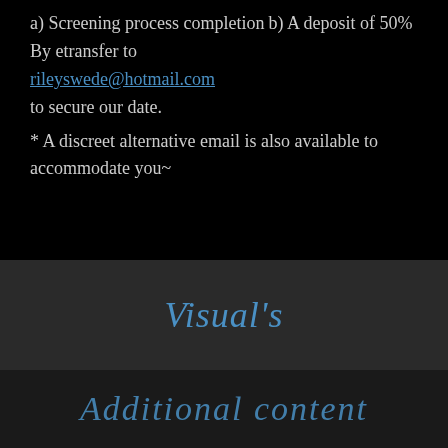a) Screening process completion
b) A deposit of 50%
By etransfer to rileyswede@hotmail.com to secure our date.
* A discreet alternative email is also available to accommodate you~
Visual's
Additional content (script text)